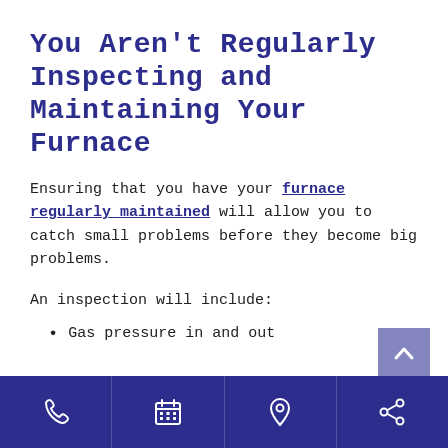You Aren't Regularly Inspecting and Maintaining Your Furnace
Ensuring that you have your furnace regularly maintained will allow you to catch small problems before they become big problems.
An inspection will include:
Gas pressure in and out
[phone icon] [calendar icon] [location icon] [share icon]